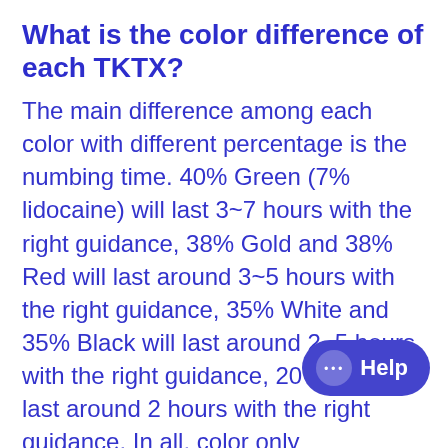What is the color difference of each TKTX?
The main difference among each color with different percentage is the numbing time. 40% Green (7% lidocaine) will last 3~7 hours with the right guidance, 38% Gold and 38% Red will last around 3~5 hours with the right guidance, 35% White and 35% Black will last around 2~5 hours with the right guidance, 20% Blue will last around 2 hours with the right guidance. In all, color only distinguishes the customer's personal preferences, you should